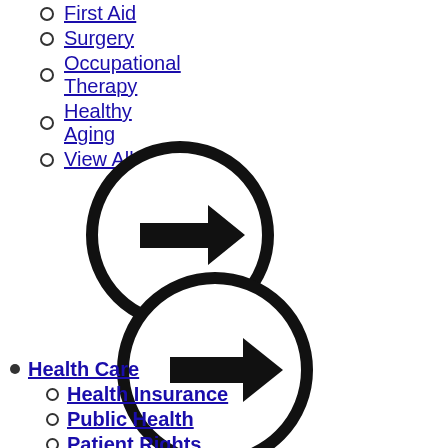First Aid
Surgery
Occupational Therapy
Healthy Aging
View All
[Figure (illustration): Circle icon with a right-pointing arrow inside (navigation button)]
[Figure (illustration): Circle icon with a right-pointing arrow inside (navigation button), slightly larger]
Health Care
Health Insurance
Public Health
Patient Rights